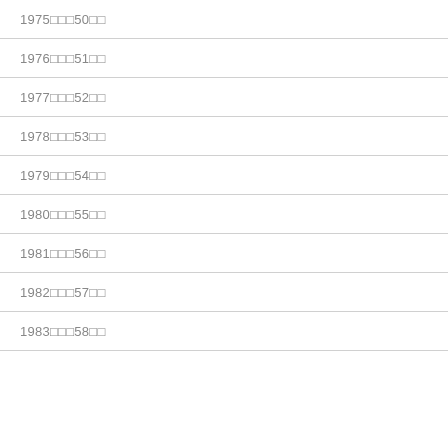1975□□□50□□
1976□□□51□□
1977□□□52□□
1978□□□53□□
1979□□□54□□
1980□□□55□□
1981□□□56□□
1982□□□57□□
1983□□□58□□